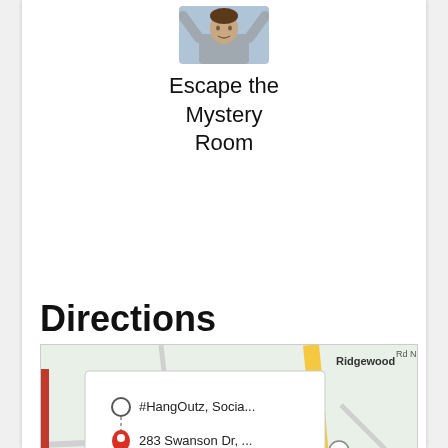[Figure (photo): Profile photo of a person with arms raised, shown from torso up]
Escape the Mystery Room
Directions
[Figure (map): Google Maps screenshot showing directions from #HangOutz, Socia... to 283 Swanson Dr, ... with a popup showing 'More options' link. Map shows Ridgewood area, route 20 and route 124, and a marker at 283 Swanson Drive.]